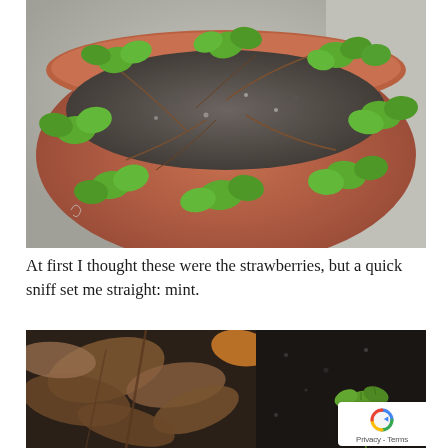[Figure (photo): A terracotta pot filled with small green mint plants with rounded leaves, viewed from above. Dark soil with pebbles is visible. The background shows a light-colored wall.]
At first I thought these were the strawberries, but a quick sniff set me straight: mint.
[Figure (photo): Close-up of garden soil with dried/dead brown leaves on the left side and a small green strawberry plant seedling emerging on the right side, against dark soil.]